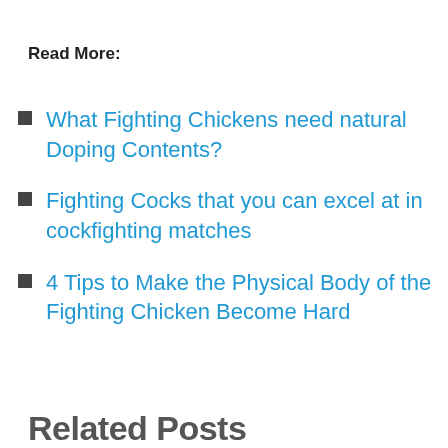Read More:
What Fighting Chickens need natural Doping Contents?
Fighting Cocks that you can excel at in cockfighting matches
4 Tips to Make the Physical Body of the Fighting Chicken Become Hard
Related Posts